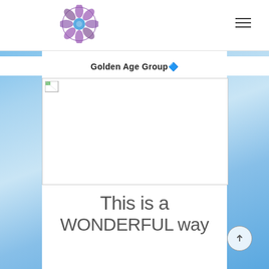[Figure (logo): Circular mandala-style logo in purple and blue tones]
Golden Age Group🔷
[Figure (photo): Broken image placeholder (image failed to load)]
This is a WONDERFUL way
[Figure (other): Blue sky with clouds background on left and right sides of page]